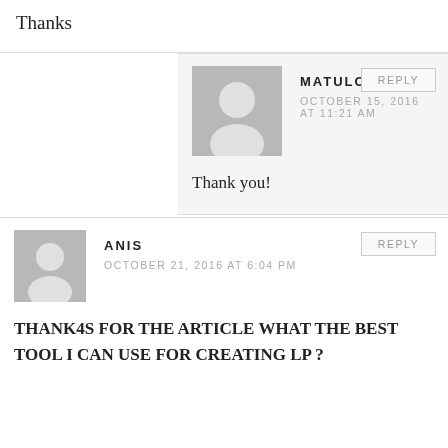Thanks
MATULOO
OCTOBER 15, 2016 AT 11:21 AM
Thank you!
ANIS
OCTOBER 21, 2016 AT 6:04 PM
THANK4S FOR THE ARTICLE WHAT THE BEST TOOL I CAN USE FOR CREATING LP ?